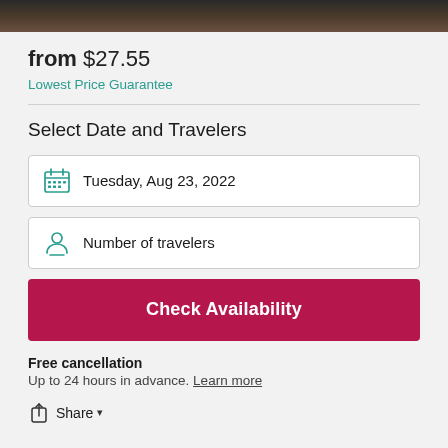[Figure (photo): Dark decorative top image banner]
from $27.55
Lowest Price Guarantee
Select Date and Travelers
Tuesday, Aug 23, 2022
Number of travelers
Check Availability
Free cancellation
Up to 24 hours in advance. Learn more
Share